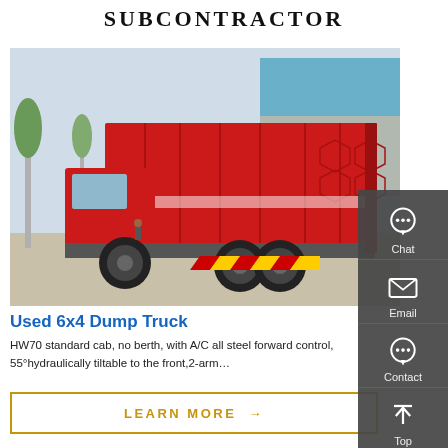SUBCONTRACTOR
[Figure (photo): Red 6x4 dump truck parked in a yard in front of a building, rear and side view visible]
[Figure (infographic): Dark sidebar with Chat, Email, Contact, Top navigation icons]
Used 6x4 Dump Truck
HW70 standard cab, no berth, with A/C all steel forward control, 55°hydraulically tiltable to the front,2-arm…
LEARN MORE →